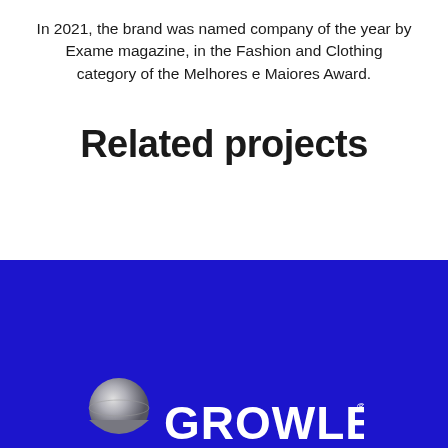In 2021, the brand was named company of the year by Exame magazine, in the Fashion and Clothing category of the Melhores e Maiores Award.
Related projects
[Figure (logo): Growley logo on a dark blue background — a silver/grey globe-like icon on the left and the text GROWLEY with a registered trademark symbol on the right, partially visible at the bottom of the page.]